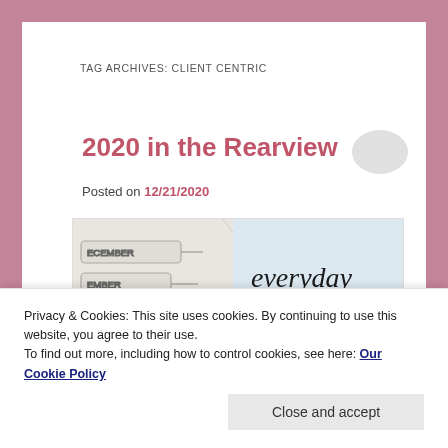TAG ARCHIVES: CLIENT CENTRIC
2020 in the Rearview
Posted on 12/21/2020
[Figure (photo): A journal or planner open to a December page on the left, with hexagonal date markers reading ECEMBER, EMBER, IBER, R. On the right page, cursive lettering reads 'everyday IS A' and a dark banner at the bottom reads 'FRE...']
Privacy & Cookies: This site uses cookies. By continuing to use this website, you agree to their use.
To find out more, including how to control cookies, see here: Our Cookie Policy
Close and accept